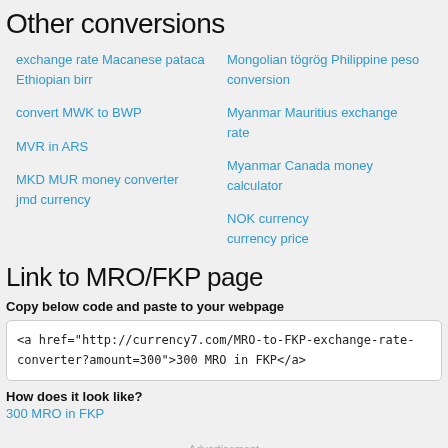Other conversions
exchange rate Macanese pataca Ethiopian birr
convert MWK to BWP
MVR in ARS
MKD MUR money converter
jmd currency
Mongolian tögrög Philippine peso conversion
Myanmar Mauritius exchange rate
Myanmar Canada money calculator
NOK currency
currency price
Link to MRO/FKP page
Copy below code and paste to your webpage
<a href="http://currency7.com/MRO-to-FKP-exchange-rate-converter?amount=300">300 MRO in FKP</a>
How does it look like?
300 MRO in FKP
Advertisement